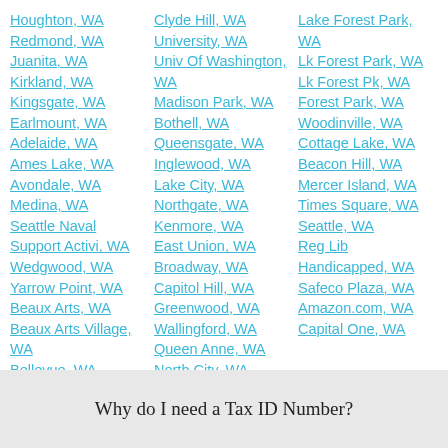Houghton, WA
Redmond, WA
Juanita, WA
Kirkland, WA
Kingsgate, WA
Earlmount, WA
Adelaide, WA
Ames Lake, WA
Avondale, WA
Medina, WA
Seattle Naval Support Activi, WA
Wedgwood, WA
Yarrow Point, WA
Beaux Arts, WA
Beaux Arts Village, WA
Bellevue, WA
Hunts Point, WA
Clyde Hill, WA
University, WA
Univ Of Washington, WA
Madison Park, WA
Bothell, WA
Queensgate, WA
Inglewood, WA
Lake City, WA
Northgate, WA
Kenmore, WA
East Union, WA
Broadway, WA
Capitol Hill, WA
Greenwood, WA
Wallingford, WA
Queen Anne, WA
North City, WA
Lake Forest Park, WA
Lk Forest Park, WA
Lk Forest Pk, WA
Forest Park, WA
Woodinville, WA
Cottage Lake, WA
Beacon Hill, WA
Mercer Island, WA
Times Square, WA
Seattle, WA
Reg Lib Handicapped, WA
Safeco Plaza, WA
Amazon.com, WA
Capital One, WA
Why do I need a Tax ID Number?